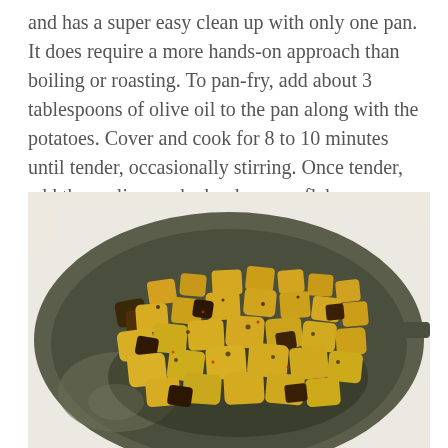and has a super easy clean up with only one pan. It does require a more hands-on approach than boiling or roasting. To pan-fry, add about 3 tablespoons of olive oil to the pan along with the potatoes. Cover and cook for 8 to 10 minutes until tender, occasionally stirring. Once tender, add the garlic, crushed red pepper flakes, paprika, turmeric, and lemon juice and mix until incorporated. Continue to fry for about another 4 to 5 minutes, until the potatoes are crispy and golden brown.
[Figure (photo): A dark gray/olive non-stick skillet pan filled with golden-brown crispy pan-fried potato cubes seasoned with turmeric and spices, photographed from above on a light marble surface.]